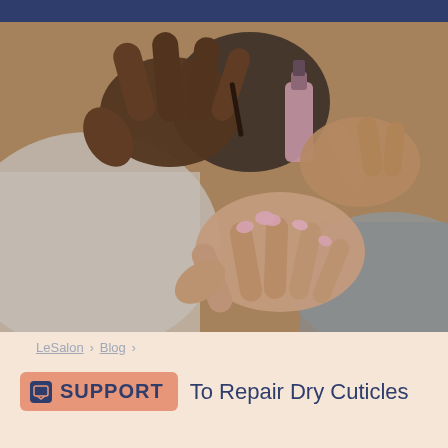[Figure (photo): Close-up photo of a nail technician applying pink nail polish to a client's fingernails. The technician's darker-skinned hands hold the nail polish bottle and brush, while the client's lighter-skinned hand is extended. A white cloth and gray towel are visible in the background.]
LeSalon › Blog ›
SUPPORT To Repair Dry Cuticles